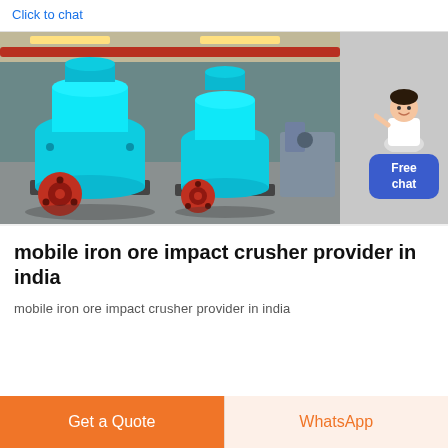Click to chat
[Figure (photo): Two large blue cone crusher machines in an industrial factory warehouse setting with red pipe overhead and industrial lighting. The machines are cyan/turquoise colored with red base wheels/flywheel components.]
[Figure (illustration): Free chat widget showing a customer service representative avatar and a blue 'Free chat' button]
mobile iron ore impact crusher provider in india
mobile iron ore impact crusher provider in india
Get a Quote
WhatsApp